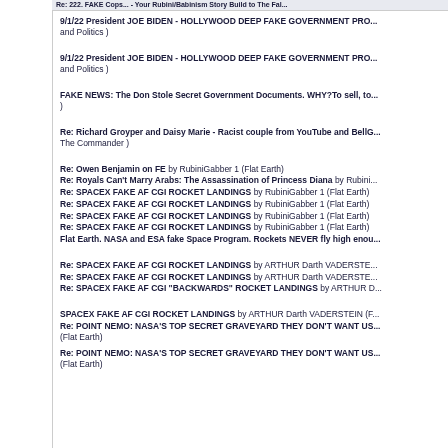Re: 222. FAKE Cops... - Your Rubini/Babinism Story Build to The Fal...
9/1/22 President JOE BIDEN - HOLLYWOOD DEEP FAKE GOVERNMENT PRO... and Politics )
9/1/22 President JOE BIDEN - HOLLYWOOD DEEP FAKE GOVERNMENT PRO... and Politics )
FAKE NEWS: The Don Stole Secret Government Documents. WHY?To sell, to... )
Re: Richard Groyper and Daisy Marie - Racist couple from YouTube and BellG... The Commander )
Re: Owen Benjamin on FE by RubiniGabber 1 (Flat Earth)
Re: Royals Can't Marry Arabs: The Assassination of Princess Diana by Rubini...
Re: SPACEX FAKE AF CGI ROCKET LANDINGS by RubiniGabber 1 (Flat Earth)
Re: SPACEX FAKE AF CGI ROCKET LANDINGS by RubiniGabber 1 (Flat Earth)
Re: SPACEX FAKE AF CGI ROCKET LANDINGS by RubiniGabber 1 (Flat Earth)
Re: SPACEX FAKE AF CGI ROCKET LANDINGS by RubiniGabber 1 (Flat Earth)
Flat Earth. NASA and ESA fake Space Program. Rockets NEVER fly high enou...
Re: SPACEX FAKE AF CGI ROCKET LANDINGS by ARTHUR Darth VADERSTE...
Re: SPACEX FAKE AF CGI ROCKET LANDINGS by ARTHUR Darth VADERSTE...
Re: SPACEX FAKE AF CGI "BACKWARDS" ROCKET LANDINGS by ARTHUR D...
SPACEX FAKE AF CGI ROCKET LANDINGS by ARTHUR Darth VADERSTEIN (F...
Re: POINT NEMO: NASA'S TOP SECRET GRAVEYARD THEY DON'T WANT US... (Flat Earth)
Re: POINT NEMO: NASA'S TOP SECRET GRAVEYARD THEY DON'T WANT US... (Flat Earth)